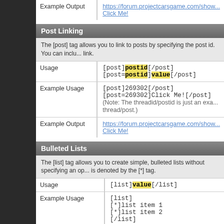|  |  |
| --- | --- |
| Example Output | https://forum.projectcarsgame.com/show...
Click Me! |
Post Linking
The [post] tag allows you to link to posts by specifying the post id. You can inclu... link.
|  |  |
| --- | --- |
| Usage | [post]postid[/post]
[post=postid]value[/post] |
| Example Usage | [post]269302[/post]
[post=269302]Click Me![/post]
(Note: The threadid/postid is just an exa... thread/post.) |
| Example Output | https://forum.projectcarsgame.com/show...
Click Me! |
Bulleted Lists
The [list] tag allows you to create simple, bulleted lists without specifying an op... is denoted by the [*] tag.
|  |  |
| --- | --- |
| Usage | [list]value[/list] |
| Example Usage | [list]
[*]list item 1
[*]list item 2
[/list] |